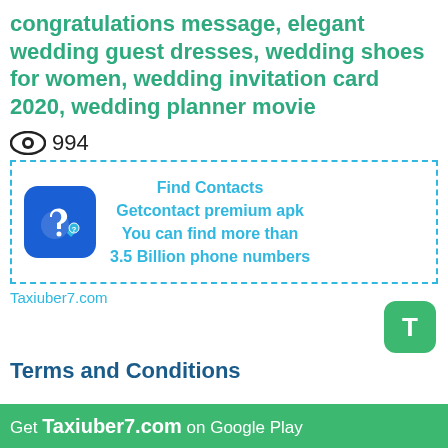congratulations message, elegant wedding guest dresses, wedding shoes for women, wedding invitation card 2020, wedding planner movie
994
[Figure (other): Advertisement box with dashed border showing a blue phone/contact app icon and text: Find Contacts, Getcontact premium apk, You can find more than 3.5 Billion phone numbers]
Taxiuber7.com
[Figure (other): Green rounded square button with letter T]
Terms and Conditions
Get Taxiuber7.com on Google Play
The Platform Constitutes an online networking platform on which the Members can create and post Adverts for Trips for the...